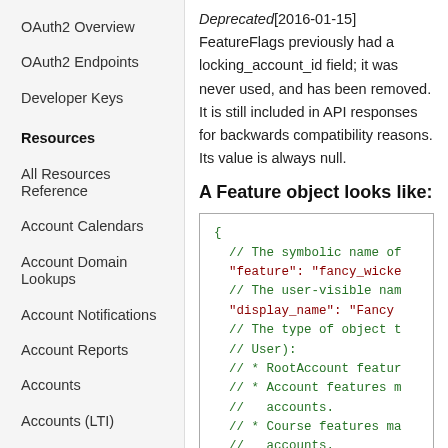OAuth2 Overview
OAuth2 Endpoints
Developer Keys
Resources
All Resources Reference
Account Calendars
Account Domain Lookups
Account Notifications
Account Reports
Accounts
Accounts (LTI)
Admins
Analytics
Deprecated[2016-01-15] FeatureFlags previously had a locking_account_id field; it was never used, and has been removed. It is still included in API responses for backwards compatibility reasons. Its value is always null.
A Feature object looks like:
[Figure (screenshot): Code block showing JSON structure of a Feature object with green comments and red string values. Contains fields: feature, display_name, applies_to, and comments about RootAccount, Account, Course, and User feature types.]